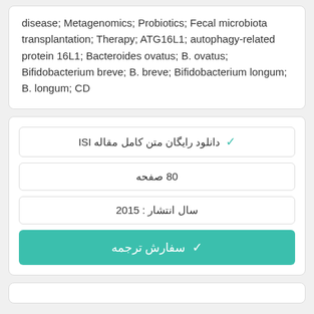disease; Metagenomics; Probiotics; Fecal microbiota transplantation; Therapy; ATG16L1; autophagy-related protein 16L1; Bacteroides ovatus; B. ovatus; Bifidobacterium breve; B. breve; Bifidobacterium longum; B. longum; CD
✓ دانلود رایگان متن کامل مقاله ISI
80 صفحه
سال انتشار : 2015
✓ سفارش ترجمه